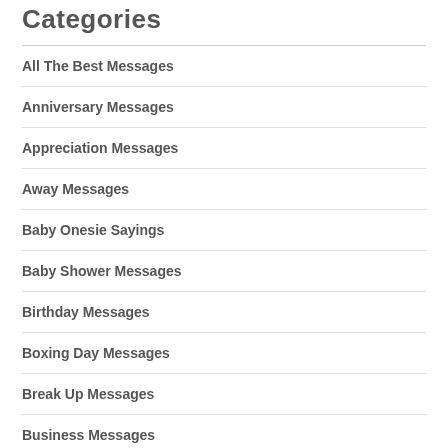Categories
All The Best Messages
Anniversary Messages
Appreciation Messages
Away Messages
Baby Onesie Sayings
Baby Shower Messages
Birthday Messages
Boxing Day Messages
Break Up Messages
Business Messages